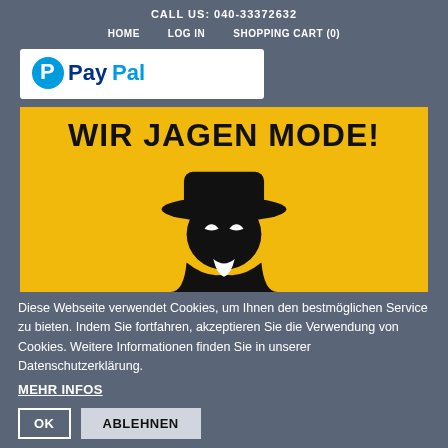CALL US: 040-33372632
HOME   LOG IN   SHOPPING CART (0)
[Figure (logo): PayPal logo on white background]
[Figure (illustration): Yellow banner with bold black text 'WIR JAGEN MODE!' and a silhouette of a person wearing a wide-brimmed hat with white eyes, dressed in a dark coat]
Diese Webseite verwendet Cookies, um Ihnen den bestmöglichen Service zu bieten. Indem Sie fortfahren, akzeptieren Sie die Verwendung von Cookies. Weitere Informationen finden Sie in unserer Datenschutzerklärung.
MEHR INFOS
OK   ABLEHNEN